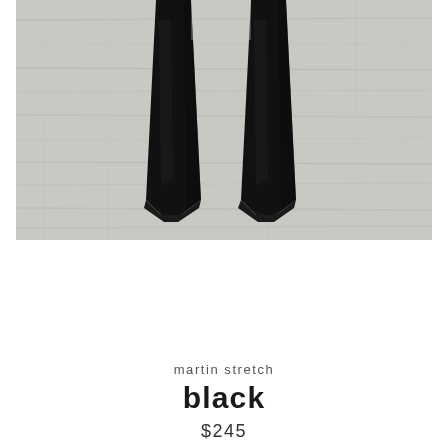[Figure (photo): Overhead flat-lay photo of black stretch pants/jeans laid open on a light grey wood-grain background. The legs of the pants are visible with dark black fabric against the pale wooden surface.]
martin stretch
black
$245